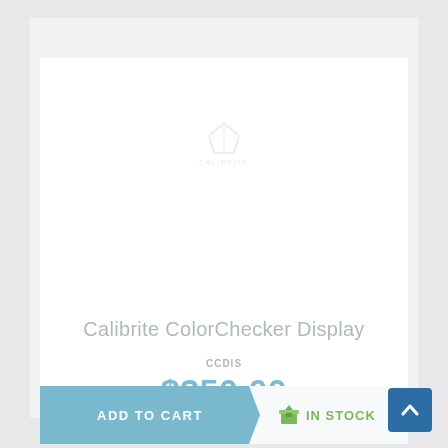[Figure (logo): Calibrite brand logo, faint/watermarked appearance]
Calibrite ColorChecker Display
CCDIS
$350.00
ADD TO CART
IN STOCK